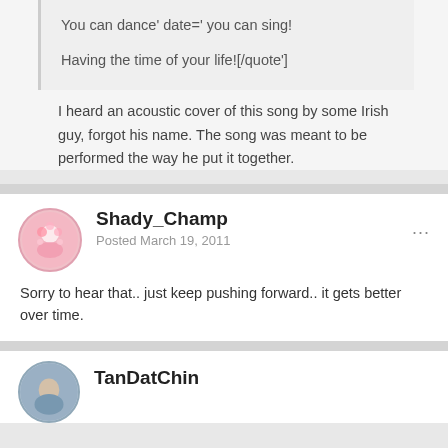You can dance' date=' you can sing!
Having the time of your life![/quote']
I heard an acoustic cover of this song by some Irish guy, forgot his name. The song was meant to be performed the way he put it together.
Shady_Champ
Posted March 19, 2011
Sorry to hear that.. just keep pushing forward.. it gets better over time.
TanDatChin